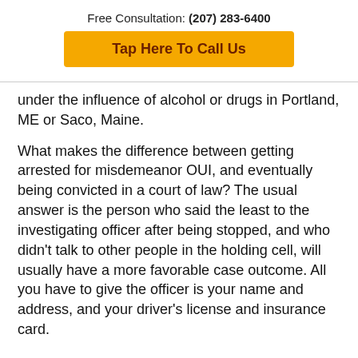Free Consultation: (207) 283-6400
Tap Here To Call Us
under the influence of alcohol or drugs in Portland, ME or Saco, Maine.
What makes the difference between getting arrested for misdemeanor OUI, and eventually being convicted in a court of law? The usual answer is the person who said the least to the investigating officer after being stopped, and who didn't talk to other people in the holding cell, will usually have a more favorable case outcome. All you have to give the officer is your name and address, and your driver's license and insurance card.